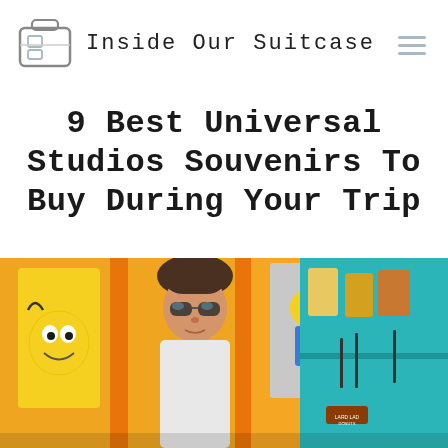Inside Our Suitcase
9 Best Universal Studios Souvenirs To Buy During Your Trip
[Figure (photo): Photo of Universal Studios Simpsons themed merchandise: Bart Simpson t-shirts on the left, a woman with sunglasses in the center, and Lard Lad Donuts themed items including donut-shaped containers on the right.]